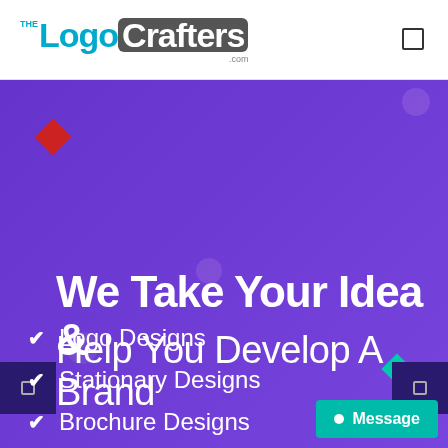THE LogoCrafters .com
We Take Your Idea &
Help You Develop A Brand
Logo Designs
Stationary Designs
Brochure Designs
Social Media Designs